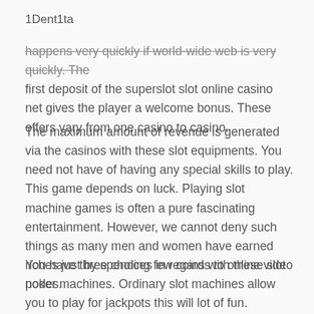1Dent1ta
happens very quickly if world-wide web is very quickly. The first deposit of the superslot slot online casino net gives the player a welcome bonus. These offers vary from one casino to casino.
The maximum amount of revenue is generated via the casinos with these slot equipments. You need not have of having any special skills to play. This game depends on luck. Playing slot machine games is often a pure fascinating entertainment. However, we cannot deny such things as many men and women have earned riches just by spending few coins with these slot nodes.
You have three choices in regards to online video poker machines. Ordinary slot machines allow you to play for jackpots this will lot of fun. Progressive slot machines offer